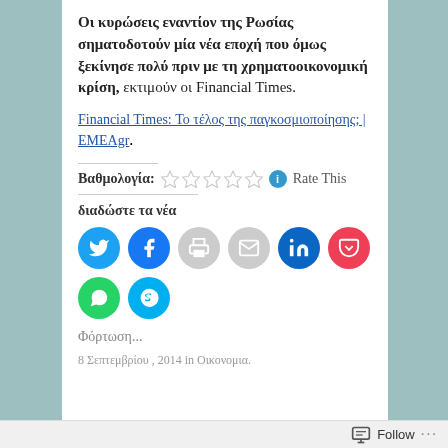Οι κυρώσεις εναντίον της Ρωσίας σηματοδοτούν μία νέα εποχή που όμως ξεκίνησε πολύ πριν με τη χρηματοοικονομική κρίση, εκτιμούν οι Financial Times.
Financial Times: Το τέλος της παγκοσμιοποίησης; | EMEAgr.
Βαθμολογία: ☆☆☆☆☆ Rate This
διαδώστε τα νέα
[Figure (infographic): Row of eight social sharing buttons: Twitter (blue), Facebook (blue), Print (grey), Email (grey), LinkedIn (dark blue), Pocket (red), WhatsApp (green), Skype (light blue)]
Φόρτωση...
8 Σεπτεμβρίου , 2014 in Οικονομια.
Follow